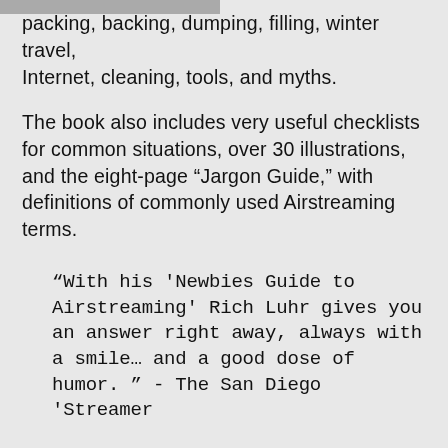packing, backing, dumping, filling, winter travel, Internet, cleaning, tools, and myths.
The book also includes very useful checklists for common situations, over 30 illustrations, and the eight-page “Jargon Guide,” with definitions of commonly used Airstreaming terms.
"With his 'Newbies Guide to Airstreaming' Rich Luhr gives you an answer right away, always with a smile... and a good dose of humor. " - The San Diego 'Streamer
"This is a great little guidebook. I can't believe how much information is packed in and I wish I'd had this when we started. If I know anyone who s starting out in an Airstream, this will become my go-to welcome to the family